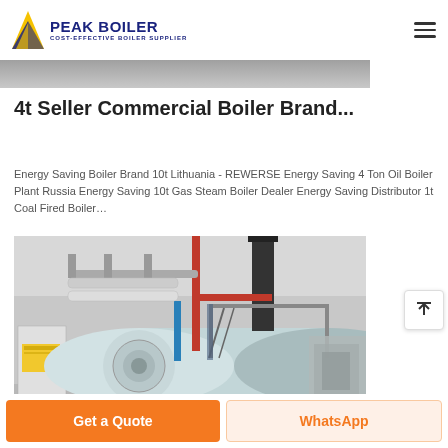PEAK BOILER COST-EFFECTIVE BOILER SUPPLIER
[Figure (photo): Partial gray image strip at top of article, partially cropped]
4t Seller Commercial Boiler Brand...
Energy Saving Boiler Brand 10t Lithuania - REWERSE Energy Saving 4 Ton Oil Boiler Plant Russia Energy Saving 10t Gas Steam Boiler Dealer Energy Saving Distributor 1t Coal Fired Boiler…
[Figure (photo): Industrial boiler installation inside a factory building. Large cylindrical horizontal boiler (light blue/white) with red and blue piping, a vertical black chimney stack, metal walkway/stairs structure, and ancillary equipment visible in the background.]
Get a Quote | WhatsApp